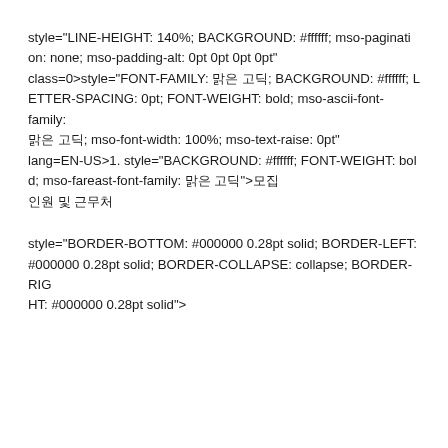style="LINE-HEIGHT: 140%; BACKGROUND: #ffffff; mso-pagination: none; mso-padding-alt: 0pt 0pt 0pt 0pt" class=0>style="FONT-FAMILY: 맑은 고딕; BACKGROUND: #ffffff; LETTER-SPACING: 0pt; FONT-WEIGHT: bold; mso-ascii-font-family: 맑은 고딕; mso-font-width: 100%; mso-text-raise: 0pt" lang=EN-US>1. style="BACKGROUND: #ffffff; FONT-WEIGHT: bold; mso-fareast-font-family: 맑은 고딕">모집 인원 및 근무처
style="BORDER-BOTTOM: #000000 0.28pt solid; BORDER-LEFT: #000000 0.28pt solid; BORDER-COLLAPSE: collapse; BORDER-RIGHT: #000000 0.28pt solid">